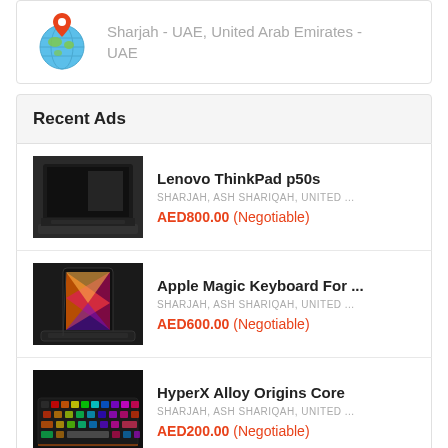Sharjah - UAE, United Arab Emirates - UAE
Recent Ads
Lenovo ThinkPad p50s
SHARJAH, ASH SHARIQAH, UNITED ...
AED800.00 (Negotiable)
Apple Magic Keyboard For ...
SHARJAH, ASH SHARIQAH, UNITED ...
AED600.00 (Negotiable)
HyperX Alloy Origins Core
SHARJAH, ASH SHARIQAH, UNITED ...
AED200.00 (Negotiable)